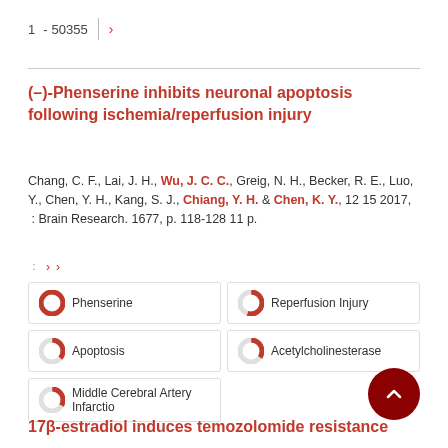1 - 50355 ›
(–)-Phenserine inhibits neuronal apoptosis following ischemia/reperfusion injury
Chang, C. F., Lai, J. H., Wu, J. C. C., Greig, N. H., Becker, R. E., Luo, Y., Chen, Y. H., Kang, S. J., Chiang, Y. H. & Chen, K. Y., 12 15 2017, : Brain Research. 1677, p. 118-128 11 p.
: › ›
Phenserine
Reperfusion Injury
Apoptosis
Acetylcholinesterase
Middle Cerebral Artery Infarctio
17β-estradiol induces temozolomide resistance